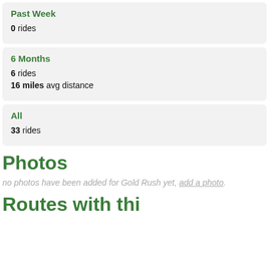Past Week
0 rides
6 Months
6 rides
16 miles avg distance
All
33 rides
Photos
no photos have been added for Gold Rush yet, add a photo.
Routes with thi